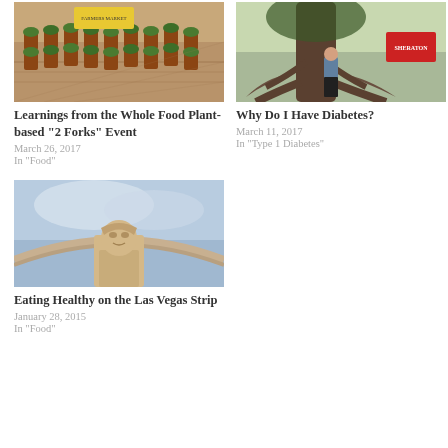[Figure (photo): Photo of many small potted plants arranged on a patterned floor with a yellow sign]
Learnings from the Whole Food Plant-based “2 Forks” Event
March 26, 2017
In "Food"
[Figure (photo): Woman standing in front of a large tree with exposed roots near a hotel sign]
Why Do I Have Diabetes?
March 11, 2017
In "Type 1 Diabetes"
[Figure (photo): Low angle photo of a Roman-style statue/sphinx at a casino with sky background]
Eating Healthy on the Las Vegas Strip
January 28, 2015
In "Food"